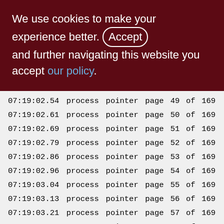We use cookies to make your experience better. By accepting and further navigating this website you accept our policy.
| 07:19:02.54 | process | pointer | page | 49 | of | 169 |
| 07:19:02.61 | process | pointer | page | 50 | of | 169 |
| 07:19:02.69 | process | pointer | page | 51 | of | 169 |
| 07:19:02.79 | process | pointer | page | 52 | of | 169 |
| 07:19:02.86 | process | pointer | page | 53 | of | 169 |
| 07:19:02.96 | process | pointer | page | 54 | of | 169 |
| 07:19:03.04 | process | pointer | page | 55 | of | 169 |
| 07:19:03.13 | process | pointer | page | 56 | of | 169 |
| 07:19:03.21 | process | pointer | page | 57 | of | 169 |
| 07:19:03.30 | process | pointer | page | 58 | of | 169 |
| 07:19:03.38 | process | pointer | page | 59 | of | 169 |
| 07:19:03.47 | process | pointer | page | 60 | of | 169 |